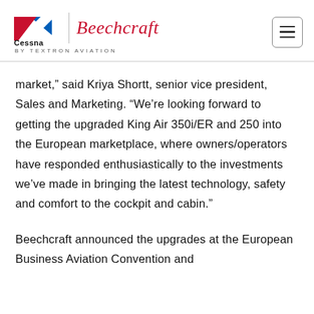Cessna | Beechcraft BY TEXTRON AVIATION
market,” said Kriya Shortt, senior vice president, Sales and Marketing. “We’re looking forward to getting the upgraded King Air 350i/ER and 250 into the European marketplace, where owners/operators have responded enthusiastically to the investments we’ve made in bringing the latest technology, safety and comfort to the cockpit and cabin.”
Beechcraft announced the upgrades at the European Business Aviation Convention and